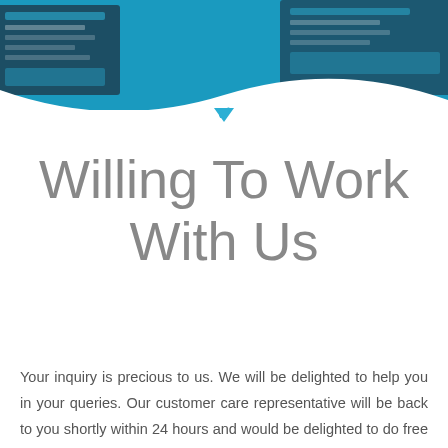[Figure (screenshot): Teal/blue header banner with overlaid screenshot images of a website UI and a white wave cutout at the bottom, with a teal chevron down arrow]
Willing To Work With Us
Your inquiry is precious to us. We will be delighted to help you in your queries. Our customer care representative will be back to you shortly within 24 hours and would be delighted to do free analysis of your requirement. For prompt reply please contact us on Phone No: +61 415445046 or Skype: sstechsystem.